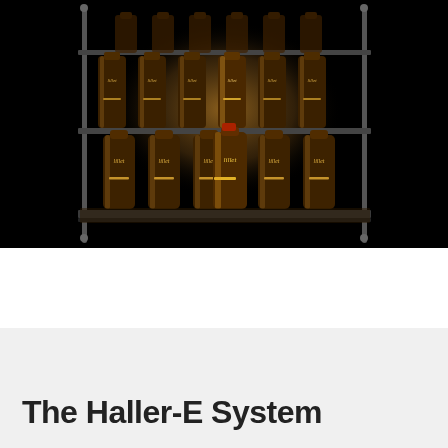[Figure (photo): Product photo of multiple dark amber glass bottles with 'Lillet' branding arranged in rows on a chrome/metal display shelf against a black background with warm golden glow lighting]
The Haller-E System